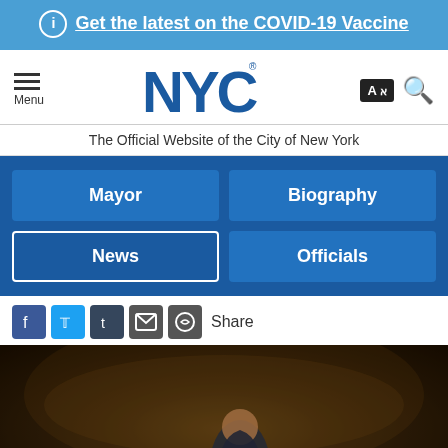Get the latest on the COVID-19 Vaccine
[Figure (logo): NYC official logo in dark blue]
The Official Website of the City of New York
Mayor
Biography
News
Officials
Share
[Figure (photo): A man in a suit at an indoor event, bowing or looking down, with crowd in background]